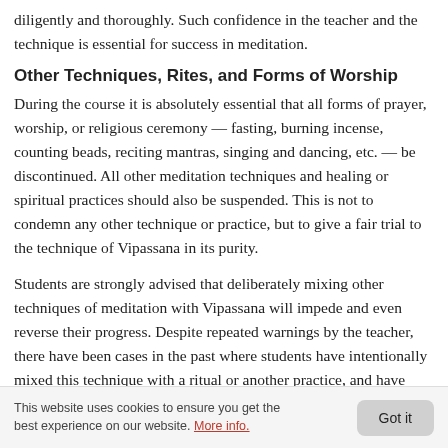diligently and thoroughly. Such confidence in the teacher and the technique is essential for success in meditation.
Other Techniques, Rites, and Forms of Worship
During the course it is absolutely essential that all forms of prayer, worship, or religious ceremony — fasting, burning incense, counting beads, reciting mantras, singing and dancing, etc. — be discontinued. All other meditation techniques and healing or spiritual practices should also be suspended. This is not to condemn any other technique or practice, but to give a fair trial to the technique of Vipassana in its purity.
Students are strongly advised that deliberately mixing other techniques of meditation with Vipassana will impede and even reverse their progress. Despite repeated warnings by the teacher, there have been cases in the past where students have intentionally mixed this technique with a ritual or another practice, and have done themselves a great disservice. Any doubts or confusion which may arise should always be clarified by meeting with the teacher.
This website uses cookies to ensure you get the best experience on our website. More info.